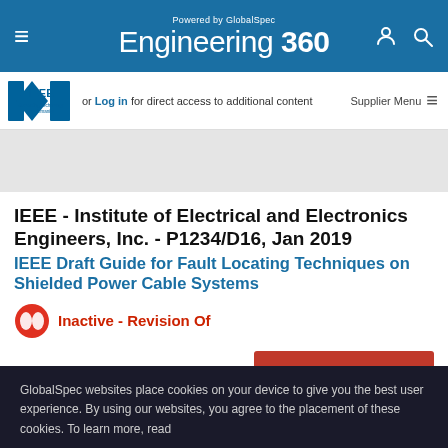Powered by GlobalSpec — Engineering 360
or Log in for direct access to additional content  Supplier Menu
IEEE - Institute of Electrical and Electronics Engineers, Inc. - P1234/D16, Jan 2019
IEEE Draft Guide for Fault Locating Techniques on Shielded Power Cable Systems
Inactive - Revision Of
BUY NOW
GlobalSpec websites place cookies on your device to give you the best user experience. By using our websites, you agree to the placement of these cookies. To learn more, read